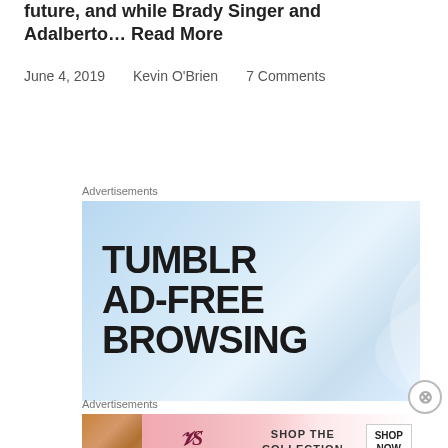future, and while Brady Singer and Adalberto… Read More
June 4, 2019    Kevin O'Brien    7 Comments
Advertisements
[Figure (other): Tumblr Ad-Free Browsing advertisement banner with light blue gradient background and bold black text reading TUMBLR AD-FREE BROWSING]
Advertisements
[Figure (other): Victoria's Secret advertisement banner showing Shop The Collection with Shop Now button on pink gradient background]